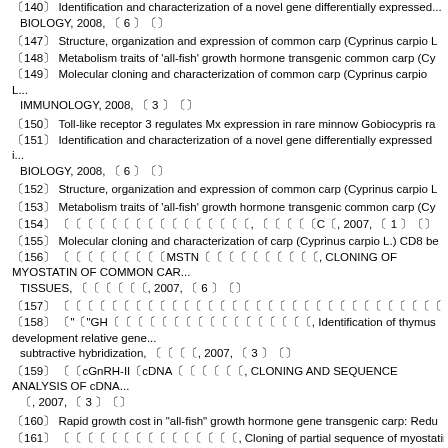〔140〕 Identification and characterization of a novel gene differentially expressed... BIOLOGY, 2008, 〔 6 〕〔〕
〔147〕 Structure, organization and expression of common carp (Cyprinus carpio L...
〔148〕 Metabolism traits of 'all-fish' growth hormone transgenic common carp (Cy...
〔149〕 Molecular cloning and characterization of common carp (Cyprinus carpio L... IMMUNOLOGY, 2008, 〔 3 〕〔〕
〔150〕 Toll-like receptor 3 regulates Mx expression in rare minnow Gobiocypris ra...
〔151〕 Identification and characterization of a novel gene differentially expressed i... BIOLOGY, 2008, 〔 6 〕〔〕
〔152〕 Structure, organization and expression of common carp (Cyprinus carpio L...
〔153〕 Metabolism traits of 'all-fish' growth hormone transgenic common carp (Cy...
〔154〕 〔〔〔〔〔〔〔〔〔〔〔〔〔〔〔〔, 〔〔〔〔〔C〔, 2007, 〔 1 〕〔〕
〔155〕 Molecular cloning and characterization of carp (Cyprinus carpio L.) CD8 be...
〔156〕 〔〔〔〔〔〔〔〔〔MSTN〔〔〔〔〔〔〔〔〔〔, CLONING OF MYOSTATIN OF COMMON CAR... TISSUES, 〔〔〔〔〔〔, 2007, 〔 6 〕〔〕
〔157〕 〔〔〔〔〔〔〔〔〔〔〔〔〔〔〔〔〔〔〔〔〔〔〔〔〔〔〔〔〔〔〔〔〔〔〔〔〔〔, 〔〔〔〔〔〔〔〔〔2006〔〔〔〔〔〔〔〔〔〔, 2007...
〔158〕 〔"〔"GH〔〔〔〔〔〔〔〔〔〔〔〔〔〔〔〔〔, Identification of thymus development relative gene... subtractive hybridization, 〔〔〔〔, 2007, 〔 3 〕〔〕
〔159〕 〔〔cGnRH-II〔cDNA〔〔〔〔〔〔, CLONING AND SEQUENCE ANALYSIS OF cDNA... 〔, 2007, 〔 3 〕〔〕
〔160〕 Rapid growth cost in "all-fish" growth hormone gene transgenic carp: Redu...
〔161〕 〔〔〔〔〔〔〔〔〔〔〔〔〔〔〔, Cloning of partial sequence of myostatin of Misgurnus ar...
〔162〕 〔〔〔〔〔〔〔〔〔〔〔〔〔〔〔, 〔〔〔(C〔:〔〔〔〔), 2007, 〔 1 〕〔〕